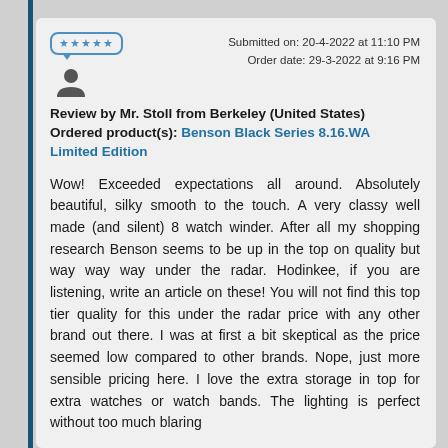Submitted on: 20-4-2022 at 11:10 PM
Order date: 29-3-2022 at 9:16 PM
Review by Mr. Stoll from Berkeley (United States)
Ordered product(s): Benson Black Series 8.16.WA Limited Edition
Wow! Exceeded expectations all around. Absolutely beautiful, silky smooth to the touch. A very classy well made (and silent) 8 watch winder. After all my shopping research Benson seems to be up in the top on quality but way way way under the radar. Hodinkee, if you are listening, write an article on these! You will not find this top tier quality for this under the radar price with any other brand out there. I was at first a bit skeptical as the price seemed low compared to other brands. Nope, just more sensible pricing here. I love the extra storage in top for extra watches or watch bands. The lighting is perfect without too much blaring